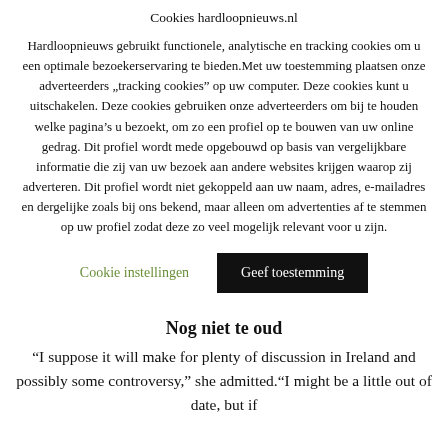Cookies hardloopnieuws.nl
Hardloopnieuws gebruikt functionele, analytische en tracking cookies om u een optimale bezoekerservaring te bieden.Met uw toestemming plaatsen onze adverteerders „tracking cookies” op uw computer. Deze cookies kunt u uitschakelen. Deze cookies gebruiken onze adverteerders om bij te houden welke pagina’s u bezoekt, om zo een profiel op te bouwen van uw online gedrag. Dit profiel wordt mede opgebouwd op basis van vergelijkbare informatie die zij van uw bezoek aan andere websites krijgen waarop zij adverteren. Dit profiel wordt niet gekoppeld aan uw naam, adres, e-mailadres en dergelijke zoals bij ons bekend, maar alleen om advertenties af te stemmen op uw profiel zodat deze zo veel mogelijk relevant voor u zijn.
Cookie instellingen
Geef toestemming
Nog niet te oud
“I suppose it will make for plenty of discussion in Ireland and possibly some controversy,” she admitted.“I might be a little out of date, but if